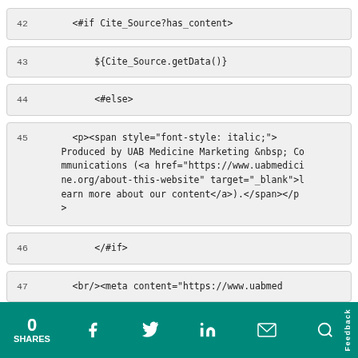42    <#if Cite_Source?has_content>
43        ${Cite_Source.getData()}
44        <#else>
45    <p><span style="font-style: italic;">Produced by UAB Medicine Marketing &nbsp; Communications (<a href="https://www.uabmedicine.org/about-this-website" target="_blank">learn more about our content</a>).</span></p>
46        </#if>
47    <br/><meta content="https://www.uabmed
0 SHARES  [Facebook] [Twitter] [LinkedIn] [Email] [Search]  Feedback